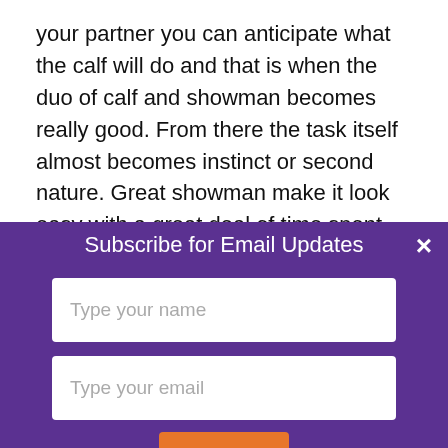your partner you can anticipate what the calf will do and that is when the duo of calf and showman becomes really good. From there the task itself almost becomes instinct or second nature. Great showman make it look easy with a great deal of time spent practicing.
What are the mistakes that you often see showman doing that you wish you could
[Figure (screenshot): Email subscription modal overlay with purple background. Contains title 'Subscribe for Email Updates', two input fields labeled 'Type your name' and 'Type your email', a Submit button in orange, and a close (×) button in top right.]